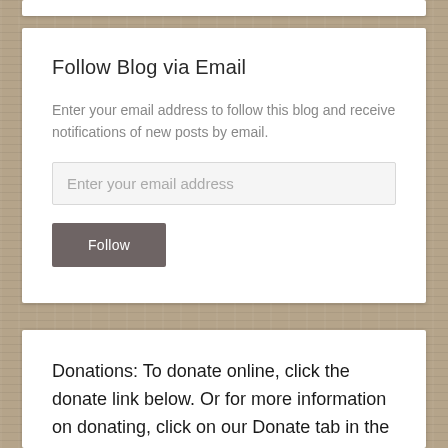Follow Blog via Email
Enter your email address to follow this blog and receive notifications of new posts by email.
Enter your email address
Follow
Donations: To donate online, click the donate link below. Or for more information on donating, click on our Donate tab in the main toolbar above..